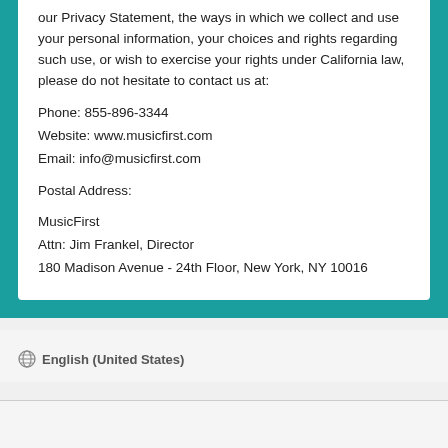our Privacy Statement, the ways in which we collect and use your personal information, your choices and rights regarding such use, or wish to exercise your rights under California law, please do not hesitate to contact us at:
Phone: 855-896-3344
Website: www.musicfirst.com
Email: info@musicfirst.com
Postal Address:
MusicFirst
Attn: Jim Frankel, Director
180 Madison Avenue - 24th Floor, New York, NY 10016
English (United States)